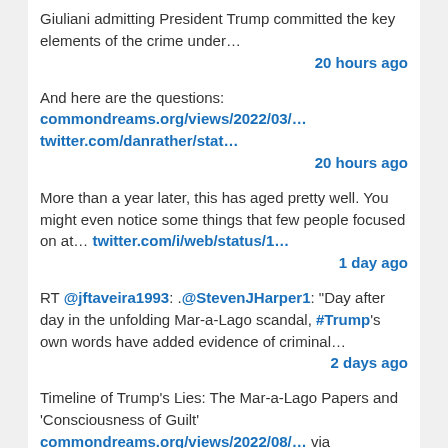Giuliani admitting President Trump committed the key elements of the crime under…
20 hours ago
And here are the questions:
commondreams.org/views/2022/03/…
twitter.com/danrather/stat…
20 hours ago
More than a year later, this has aged pretty well. You might even notice some things that few people focused on at… twitter.com/i/web/status/1…
1 day ago
RT @jftaveira1993: .@StevenJHarper1: "Day after day in the unfolding Mar-a-Lago scandal, #Trump's own words have added evidence of criminal…
2 days ago
Timeline of Trump's Lies: The Mar-a-Lago Papers and 'Consciousness of Guilt'
commondreams.org/views/2022/08/… via @commondreams